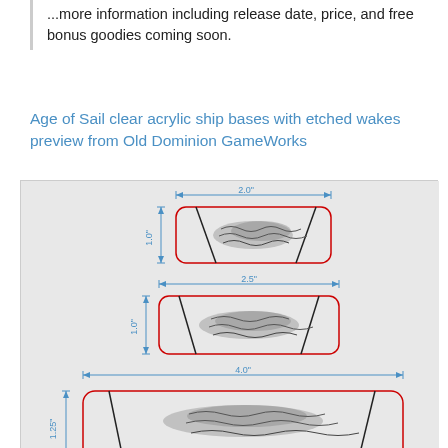...more information including release date, price, and free bonus goodies coming soon.
Age of Sail clear acrylic ship bases with etched wakes preview from Old Dominion GameWorks
[Figure (engineering-diagram): Three technical diagrams of clear acrylic ship bases showing dimensioned drawings. Top: 2.0" wide x 1.0" tall base with etched wake pattern. Middle: 2.5" wide x 1.0" tall base with etched wake pattern. Bottom (partially visible): 4.0" wide x 1.25" tall base with etched wake pattern. Each shown with red-outlined rounded rectangle border and dimension arrows.]